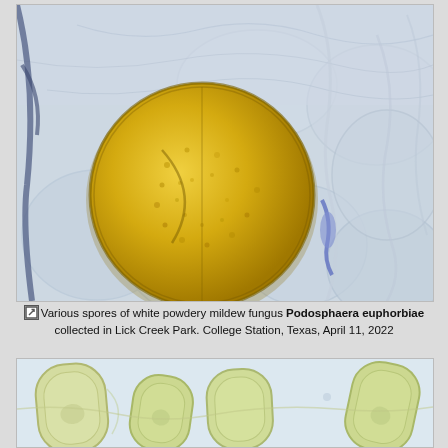[Figure (photo): Microscopy image showing a large round golden-yellow spore of white powdery mildew fungus Podosphaera euphorbiae, with a textured granular surface and visible internal lines, surrounded by pale transparent plant cell structures. A small blue-stained hypha is visible to the right of the spore.]
Various spores of white powdery mildew fungus Podosphaera euphorbiae collected in Lick Creek Park. College Station, Texas, April 11, 2022
[Figure (photo): Microscopy image showing elongated oval asci (sac-like structures) of the powdery mildew fungus, appearing pale yellow-green with visible cell walls and contents, against a light blue-white background.]